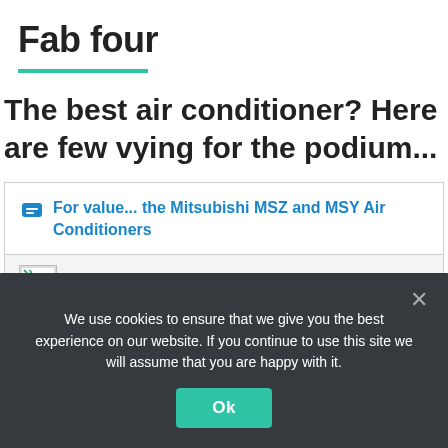Fab four
The best air conditioner? Here are few vying for the podium...
For value... the Mitsubishi MSZ and MSY Air Conditioners
[Figure (photo): Broken/missing image placeholder]
We use cookies to ensure that we give you the best experience on our website. If you continue to use this site we will assume that you are happy with it.